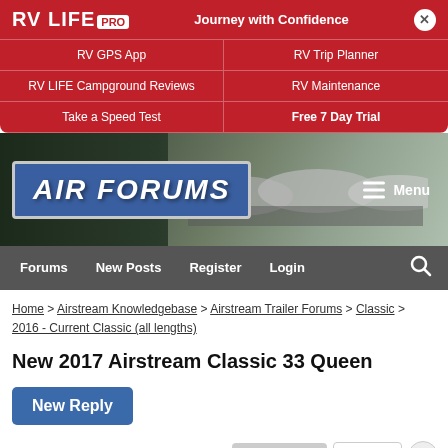[Figure (screenshot): RV LIFE PRO banner advertisement with red background showing logo, 'Journey with Confidence' tagline, and links to RV GPS App, RV Trip Planner, RV LIFE Campground Reviews, RV Maintenance, Take a Speed Test, and Free 7 Day Trial]
[Figure (logo): Air Forums website header with blue logo sign showing 'AIR FORUMS' text overlaid on a dark background with Airstream trailers, and a Menu button on the right]
[Figure (screenshot): Navigation bar with dark gray background containing Forums, New Posts, Register, Login links and a search icon]
Home > Airstream Knowledgebase > Airstream Trailer Forums > Classic > 2016 - Current Classic (all lengths)
New 2017 Airstream Classic 33 Queen
New Reply
Page 1 of 6   Next >